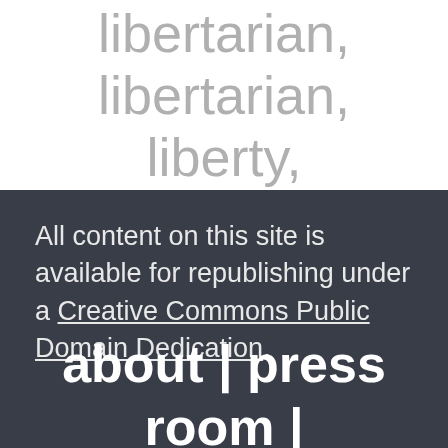libertarian, libertarian, liberty,
All content on this site is available for republishing under a Creative Commons Public Domain Dedication.
about | press room |